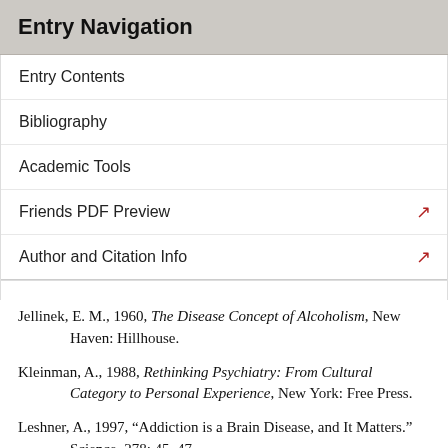Entry Navigation
Entry Contents
Bibliography
Academic Tools
Friends PDF Preview
Author and Citation Info
Jellinek, E. M., 1960, The Disease Concept of Alcoholism, New Haven: Hillhouse.
Kleinman, A., 1988, Rethinking Psychiatry: From Cultural Category to Personal Experience, New York: Free Press.
Leshner, A., 1997, “Addiction is a Brain Disease, and It Matters.” Science, 278: 45–47.
Mele, A. R, 1996, “Addiction and Self-Control.” Behavior and Philosophy 24: 99–117,